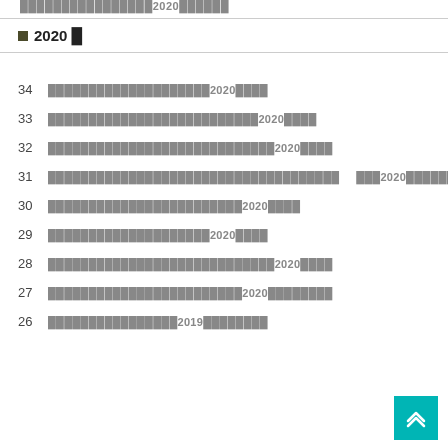████████████████2020██████
■2020 █
34  ████████████████████2020████
33  ██████████████████████████2020████
32  ████████████████████████████2020████
31  ████████████████████████████████████     ███2020████████
30  ████████████████████████2020████
29  ████████████████████2020████
28  ████████████████████████████2020████
27  ████████████████████████2020████████
26  ████████████████2019████████